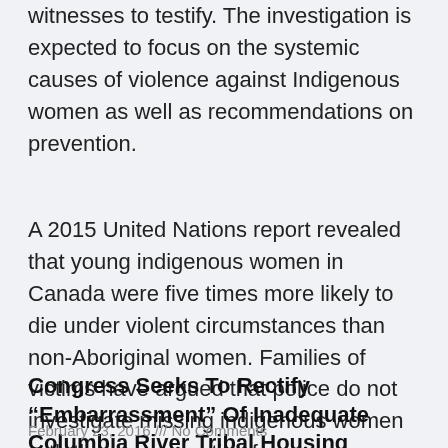witnesses to testify. The investigation is expected to focus on the systemic causes of violence against Indigenous women as well as recommendations on prevention.
A 2015 United Nations report revealed that young indigenous women in Canada were five times more likely to die under violent circumstances than non-Aboriginal women. Families of victims have argued that police do not investigate missing indigenous women with the same scrutiny for cases involving white women.
Congress Seeks To Rectify “Embarrassment” Of Inadequate Columbia River Tribal Housing
February 23, 2016 /// No Comments